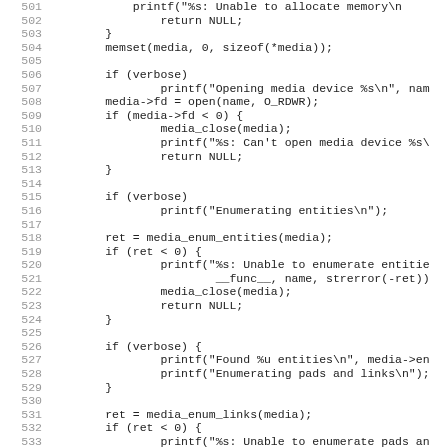Source code listing, lines 501-532, showing C code for media device handling including printf, memset, open, media_close, media_enum_entities, and media_enum_links calls.